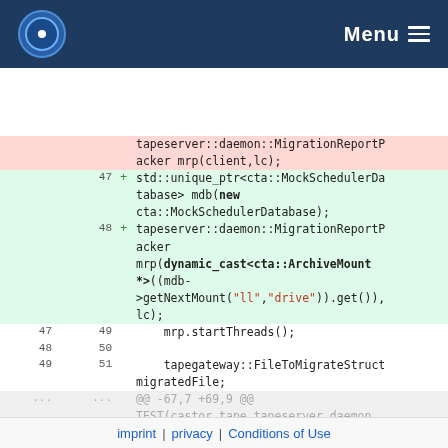BEST. Menu
diff code view showing changes to a C++ file involving tapeserver::daemon::MigrationReportPacker and MockSchedulerDatabase
imprint | privacy | Conditions of Use